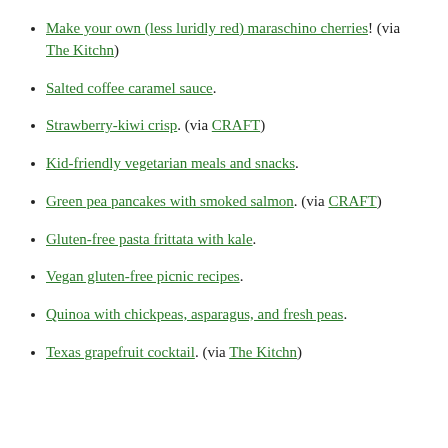Make your own (less luridly red) maraschino cherries! (via The Kitchn)
Salted coffee caramel sauce.
Strawberry-kiwi crisp. (via CRAFT)
Kid-friendly vegetarian meals and snacks.
Green pea pancakes with smoked salmon. (via CRAFT)
Gluten-free pasta frittata with kale.
Vegan gluten-free picnic recipes.
Quinoa with chickpeas, asparagus, and fresh peas.
Texas grapefruit cocktail. (via The Kitchn)